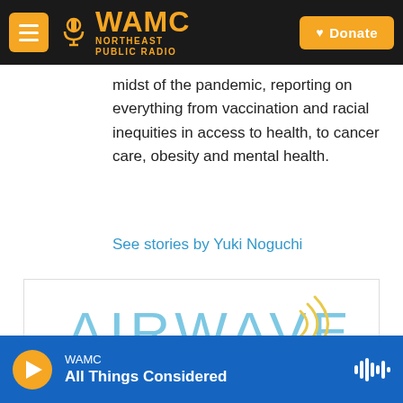WAMC NORTHEAST PUBLIC RADIO | Donate
midst of the pandemic, reporting on everything from vaccination and racial inequities in access to health, to cancer care, obesity and mental health.
See stories by Yuki Noguchi
[Figure (logo): AIRWAVES logo in light blue with radio signal waves in gold/yellow on the right side, inside a white bordered box]
WAMC | All Things Considered